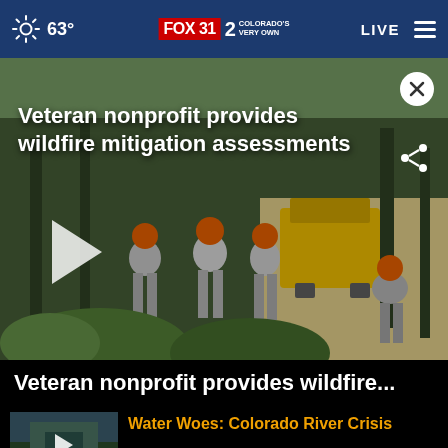63° FOX 31 2 COLORADO'S VERY OWN  LIVE
[Figure (screenshot): Video thumbnail showing workers in orange helmets clearing brush in a forest with heavy machinery. Title overlay reads: Veteran nonprofit provides wildfire mitigation assessments. Play button, close button, and share button visible.]
Veteran nonprofit provides wildfire...
[Figure (screenshot): Thumbnail of Colorado river canyon landscape with play button overlay]
Water Woes: Colorado River Crisis